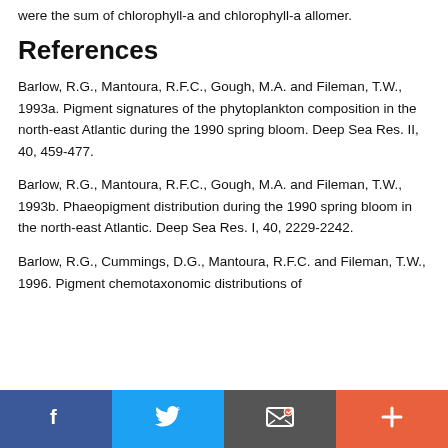were the sum of chlorophyll-a and chlorophyll-a allomer.
References
Barlow, R.G., Mantoura, R.F.C., Gough, M.A. and Fileman, T.W., 1993a. Pigment signatures of the phytoplankton composition in the north-east Atlantic during the 1990 spring bloom. Deep Sea Res. II, 40, 459-477.
Barlow, R.G., Mantoura, R.F.C., Gough, M.A. and Fileman, T.W., 1993b. Phaeopigment distribution during the 1990 spring bloom in the north-east Atlantic. Deep Sea Res. I, 40, 2229-2242.
Barlow, R.G., Cummings, D.G., Mantoura, R.F.C. and Fileman, T.W., 1996. Pigment chemotaxonomic distributions of
Facebook | Twitter | Email | More